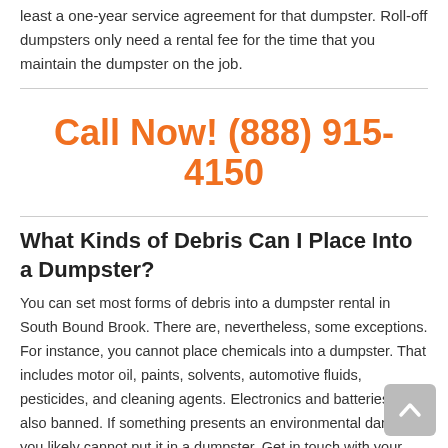least a one-year service agreement for that dumpster. Roll-off dumpsters only need a rental fee for the time that you maintain the dumpster on the job.
Call Now! (888) 915-4150
What Kinds of Debris Can I Place Into a Dumpster?
You can set most forms of debris into a dumpster rental in South Bound Brook. There are, nevertheless, some exceptions. For instance, you cannot place chemicals into a dumpster. That includes motor oil, paints, solvents, automotive fluids, pesticides, and cleaning agents. Electronics and batteries are also banned. If something presents an environmental danger, you likely cannot put it in a dumpster. Get in touch with your rental company if you